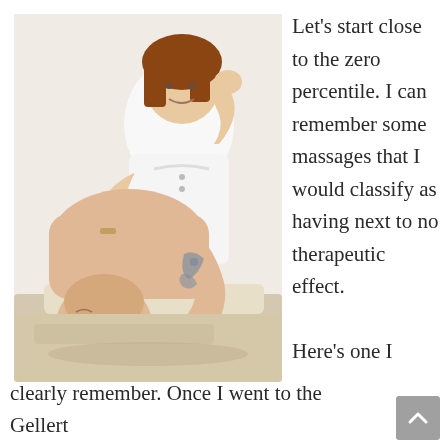[Figure (photo): A female massage therapist in white clinic attire working on the back/shoulder area of a shirtless male client who is lying on a massage table. The male client has a tattooed arm and appears to be grimacing or reacting to the pressure. Both appear to be middle-aged adults. White background.]
Let's start close to the zero percentile. I can remember some massages that I would classify as having next to no therapeutic effect.
Here's one I clearly remember. Once I went to the Gellert